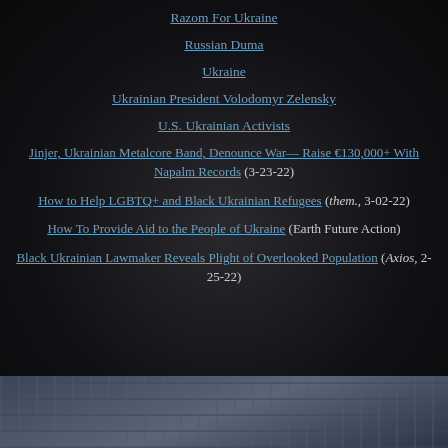Razom For Ukraine
Russian Duma
Ukraine
Ukrainian President Volodomyr Zelensky
U.S. Ukrainian Activists
Jinjer, Ukrainian Metalcore Band, Denounce War— Raise €130,000+ With Napalm Records (3-23-22)
How to Help LGBTQ+ and Black Ukrainian Refugees (them., 3-02-22)
How To Provide Aid to the People of Ukraine (Earth Future Action)
Black Ukrainian Lawmaker Reveals Plight of Overlooked Population (Axios, 2-25-22)
[Figure (photo): Cobblestone pavement seen from above, dark grey tones]